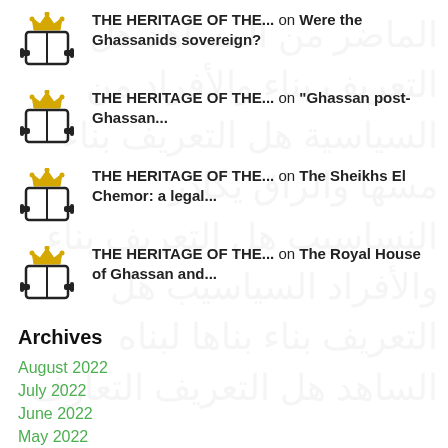THE HERITAGE OF THE... on Were the Ghassanids sovereign?
THE HERITAGE OF THE... on "Ghassan post-Ghassan...
THE HERITAGE OF THE... on The Sheikhs El Chemor: a legal...
THE HERITAGE OF THE... on The Royal House of Ghassan and...
Archives
August 2022
July 2022
June 2022
May 2022
April 2022
March 2022